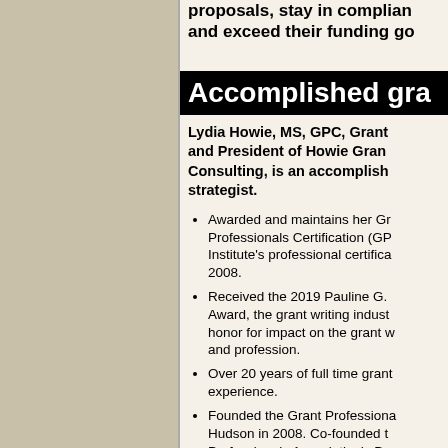proposals, stay in compliance and exceed their funding goals.
Accomplished grant strategist.
Lydia Howie, MS, GPC, Grant and President of Howie Grant Consulting, is an accomplished strategist.
Awarded and maintains her Grant Professionals Certification (GPC), the Institute's professional certification, since 2008.
Received the 2019 Pauline G. Award, the grant writing industry's top honor for impact on the grant writing field and profession.
Over 20 years of full time grant experience.
Founded the Grant Professionals Hudson in 2008. Co-founded the Professionals Association's De...